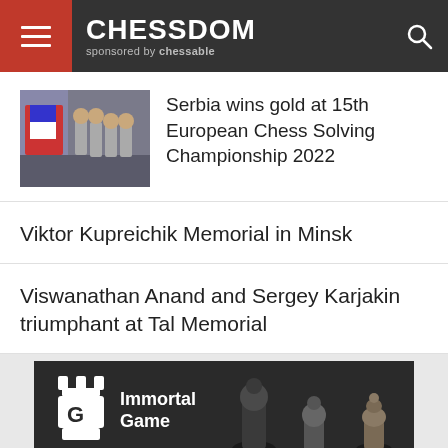CHESSDOM sponsored by chessable
Serbia wins gold at 15th European Chess Solving Championship 2022
Viktor Kupreichik Memorial in Minsk
Viswanathan Anand and Sergey Karjakin triumphant at Tal Memorial
[Figure (screenshot): Immortal Game advertisement banner with chess pieces and logo]